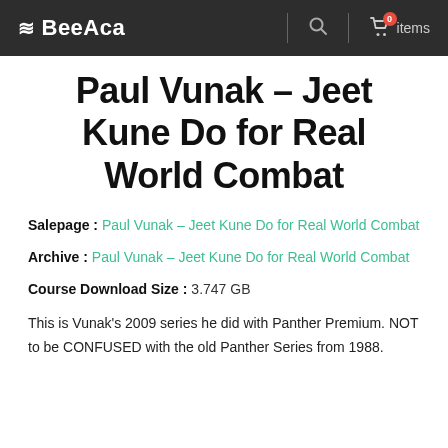≋BeeAca  🔍  🛒 0 items
Paul Vunak – Jeet Kune Do for Real World Combat
Salepage : Paul Vunak – Jeet Kune Do for Real World Combat
Archive : Paul Vunak – Jeet Kune Do for Real World Combat
Course Download Size : 3.747 GB
This is Vunak's 2009 series he did with Panther Premium. NOT to be CONFUSED with the old Panther Series from 1988.